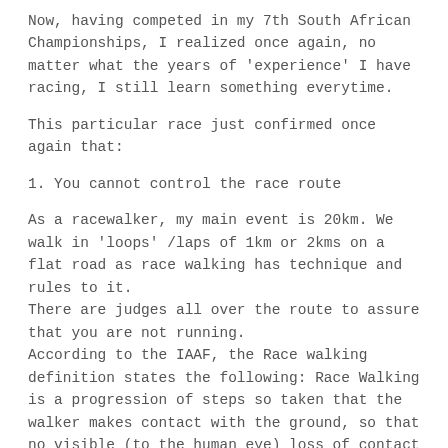Now, having competed in my 7th South African Championships, I realized once again, no matter what the years of 'experience' I have racing, I still learn something everytime.
This particular race just confirmed once again that:
1. You cannot control the race route
As a racewalker, my main event is 20km. We walk in 'loops' /laps of 1km or 2kms on a flat road as race walking has technique and rules to it.
There are judges all over the route to assure that you are not running.
According to the IAAF, the Race walking definition states the following: Race Walking is a progression of steps so taken that the walker makes contact with the ground, so that no visible (to the human eye) loss of contact occurs. The